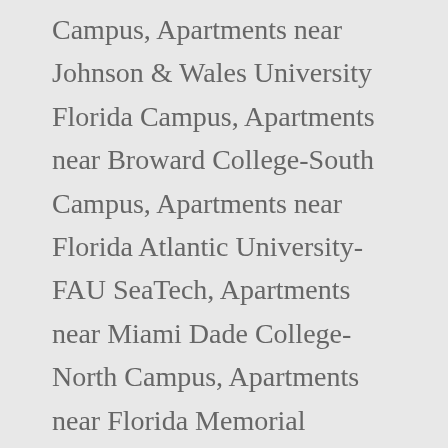Campus, Apartments near Johnson & Wales University Florida Campus, Apartments near Broward College-South Campus, Apartments near Florida Atlantic University-FAU SeaTech, Apartments near Miami Dade College-North Campus, Apartments near Florida Memorial University, Apartments near AI Miami International University of Art and Design, Apartments near The Art Institute of Fort Lauderdale-Fort Lauderdale Campus. Your location was not found. Refine the Apartments for rent in Williams Island by using the filter at the top to view bedrooms, as well as cheap Apartments, pet friendly Apartments, Apartments with utilities included and more. Explore a selection of Williams Island, Garden